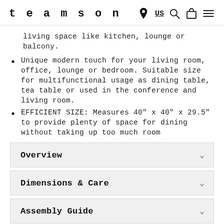teamson   US
living space like kitchen, lounge or balcony.
Unique modern touch for your living room, office, lounge or bedroom. Suitable size for multifunctional usage as dining table, tea table or used in the conference and living room.
EFFICIENT SIZE: Measures 40" x 40" x 29.5" to provide plenty of space for dining without taking up too much room
Overview
Dimensions & Care
Assembly Guide
3D Assembly Guide